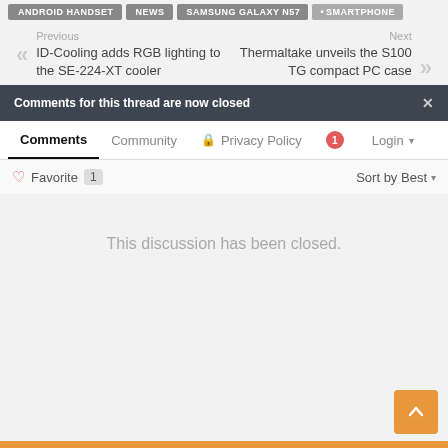SMARTPHONE
Previous
ID-Cooling adds RGB lighting to the SE-224-XT cooler
Next
Thermaltake unveils the S100 TG compact PC case
Comments for this thread are now closed
Comments  Community  Privacy Policy  Login
Favorite  1   Sort by Best
This discussion has been closed.